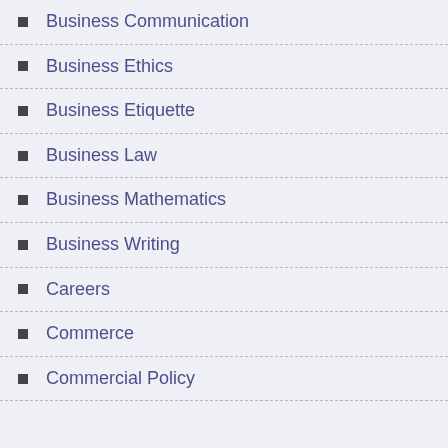Business Communication
Business Ethics
Business Etiquette
Business Law
Business Mathematics
Business Writing
Careers
Commerce
Commercial Policy